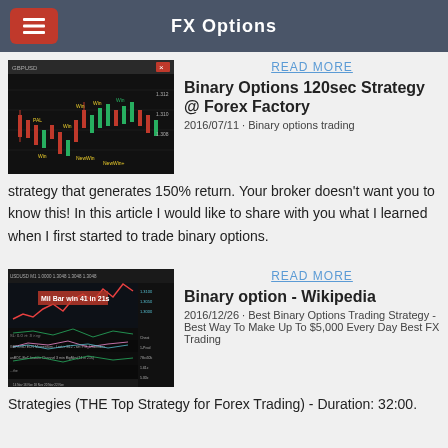FX Options
[Figure (screenshot): Candlestick trading chart screenshot with red and green candles on black background]
READ MORE
Binary Options 120sec Strategy @ Forex Factory
2016/07/11 · Binary options trading strategy that generates 150% return. Your broker doesn't want you to know this! In this article I would like to share with you what I learned when I first started to trade binary options.
[Figure (screenshot): Multi-panel forex trading chart screenshot showing various indicators and price data]
READ MORE
Binary option - Wikipedia
2016/12/26 · Best Binary Options Trading Strategy - Best Way To Make Up To $5,000 Every Day Best FX Trading Strategies (THE Top Strategy for Forex Trading) - Duration: 32:00.